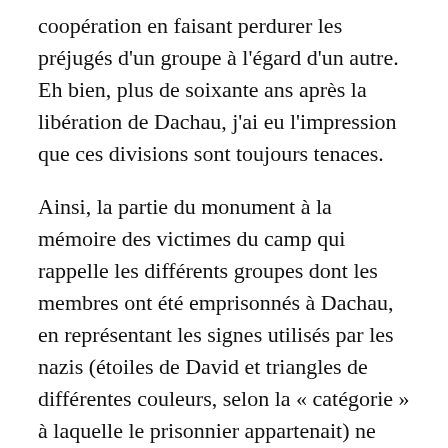coopération en faisant perdurer les préjugés d'un groupe à l'égard d'un autre. Eh bien, plus de soixante ans après la libération de Dachau, j'ai eu l'impression que ces divisions sont toujours tenaces.
Ainsi, la partie du monument à la mémoire des victimes du camp qui rappelle les différents groupes dont les membres ont été emprisonnés à Dachau, en représentant les signes utilisés par les nazis (étoiles de David et triangles de différentes couleurs, selon la « catégorie » à laquelle le prisonnier appartenait) ne fait pas mention des prisonniers homosexuels, pas plus que des criminels. Quant le monument a été érigé, les